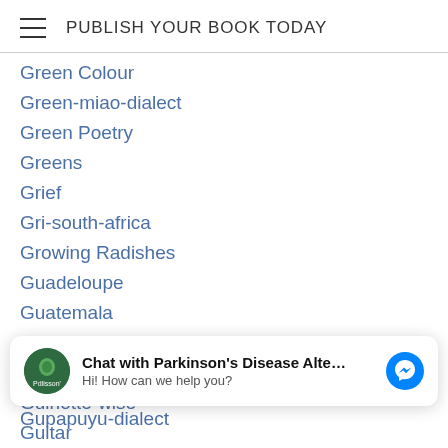PUBLISH YOUR BOOK TODAY
Green Colour
Green-miao-dialect
Green Poetry
Greens
Grief
Gri-south-africa
Growing Radishes
Guadeloupe
Guatemala
Guest Blog
Guest Blogger
Guinotte-wise
Guitar
[Figure (screenshot): Chat overlay: avatar with green circle logo, text 'Chat with Parkinson's Disease Alte...' and 'Hi! How can we help you?', with Facebook Messenger icon button]
Gupapuyu-dialect